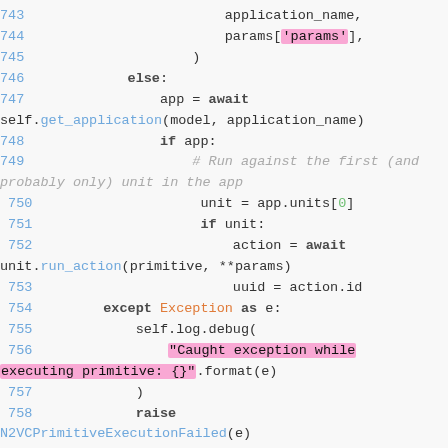[Figure (screenshot): Python source code snippet showing lines 743-761, with syntax highlighting. Lines include async application code with try/except blocks, await calls, and method definitions. Highlighted strings shown in pink/magenta background.]